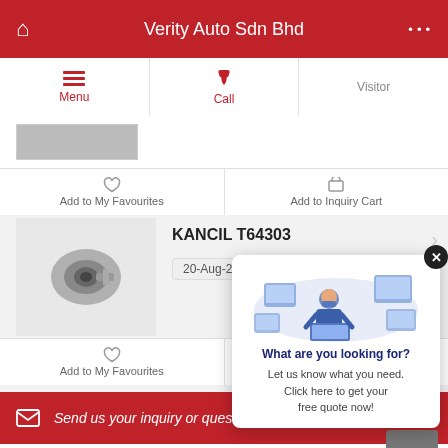Verity Auto Sdn Bhd
[Figure (screenshot): Mobile app navigation bar with Menu, Call, and Visitor tabs]
[Figure (screenshot): Partial product card with Add to My Favourites and Add to Inquiry Cart actions]
[Figure (photo): Product photo of KANCIL T64303 auto part (small metal component)]
KANCIL T64303
20-Aug-2018
[Figure (screenshot): Add to My Favourites and Add to Inquiry Cart action buttons for second product]
[Figure (illustration): Popup overlay illustration of person using laptop with digital screens, with text: What are you looking for? Let us know what you need. Click here to get your free quote now!]
[Figure (screenshot): Red email inquiry bar: Send us your inquiry or question]
Send us your inquiry or question
Main Office
Verity Auto Sdn Bhd (973018-D)